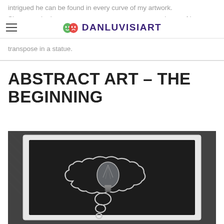intrigued he can be found in every curve of my artwork. She was, she is, and always will be. The pieces of her will always be the most powerful emotions I could ever transpose in a statue.
DANLUVISIART
ABSTRACT ART – THE BEGINNING
[Figure (photo): A chalkboard in a white picture frame showing a thought bubble drawn in chalk, with a glass light bulb placed inside the thought bubble. The background is a textured woven surface.]